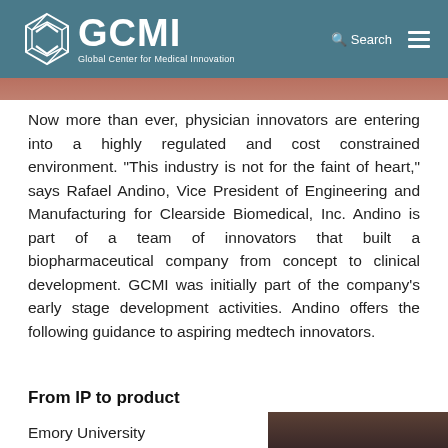GCMI — Global Center for Medical Innovation
[Figure (photo): Partial photograph strip visible below header, brownish/reddish tones]
Now more than ever, physician innovators are entering into a highly regulated and cost constrained environment. "This industry is not for the faint of heart," says Rafael Andino, Vice President of Engineering and Manufacturing for Clearside Biomedical, Inc. Andino is part of a team of innovators that built a biopharmaceutical company from concept to clinical development. GCMI was initially part of the company's early stage development activities. Andino offers the following guidance to aspiring medtech innovators.
From IP to product
Emory University
[Figure (photo): Portrait photo of person, partially visible at bottom right]